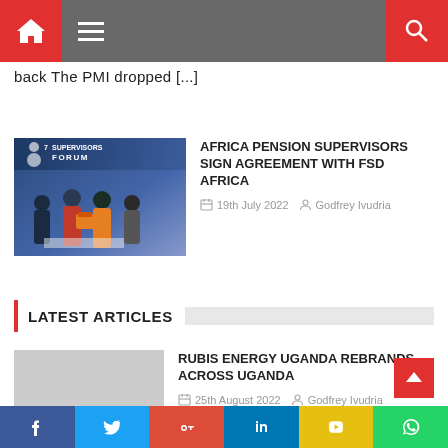Navigation bar with home icon, hamburger menu, and search icon
back The PMI dropped [...]
[Figure (photo): Photo of people at a forum/conference signing an agreement, with a blue SUPERVISORS FORUM banner in the background]
AFRICA PENSION SUPERVISORS SIGN AGREEMENT WITH FSD AFRICA
19th July 2022   Godfrey Ivudria
LATEST ARTICLES
RUBIS ENERGY UGANDA REBRANDS ACROSS UGANDA
25th August 2022   Godfrey Ivudria
Social share buttons: Facebook, Twitter, Google+, LinkedIn, YouTube, WhatsApp